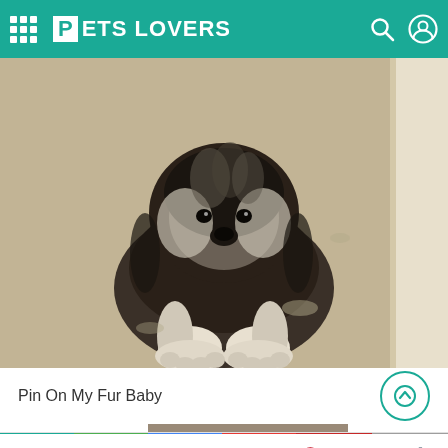PETS LOVERS
[Figure (photo): A small fluffy black and white dog lying on a beige/tan carpet, looking up at the camera with paws stretched forward]
Pin On My Fur Baby
[Figure (photo): Partial thumbnail image visible at bottom of page]
Share icons: generic share, Facebook, WhatsApp, Messenger, Twitter, Pinterest, LinkedIn, Tumblr